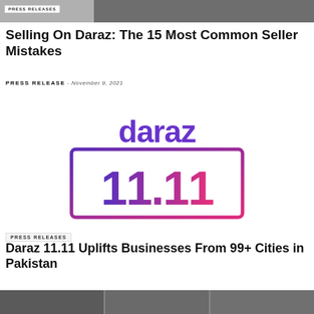[Figure (photo): Top partial image strip with 'Press Releases' tag on left gray section and dark right section showing partial device photo]
Selling On Daraz: The 15 Most Common Seller Mistakes
Press Release - November 9, 2021
[Figure (logo): Daraz 11.11 logo with 'daraz' text in purple and '11.11' in pink-to-purple gradient inside a rectangular border]
Press Releases
Daraz 11.11 Uplifts Businesses From 99+ Cities in Pakistan
Press Release - November 5, 2021
[Figure (photo): Bottom partial image strip showing three panel photos of people]